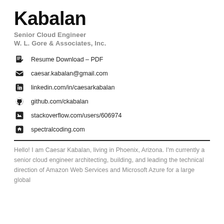Kabalan
Senior Cloud Engineer
W. L. Gore & Associates, Inc.
Resume Download – PDF
caesar.kabalan@gmail.com
linkedin.com/in/caesarkabalan
github.com/ckabalan
stackoverflow.com/users/606974
spectralcoding.com
Hello! I am Caesar Kabalan, living in Phoenix, Arizona. I'm currently a senior cloud engineer architecting, building, and leading the technical direction of Amazon Web Services and Microsoft Azure for a large global